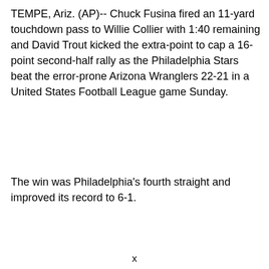TEMPE, Ariz. (AP)-- Chuck Fusina fired an 11-yard touchdown pass to Willie Collier with 1:40 remaining and David Trout kicked the extra-point to cap a 16-point second-half rally as the Philadelphia Stars beat the error-prone Arizona Wranglers 22-21 in a United States Football League game Sunday.
The win was Philadelphia's fourth straight and improved its record to 6-1.
x